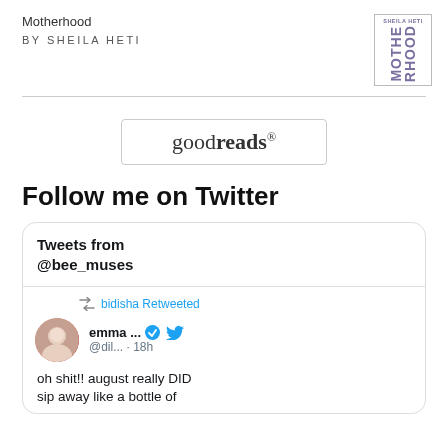Motherhood
BY SHEILA HETI
[Figure (logo): Book cover logo for Motherhood by Sheila Heti with purple rotated text]
[Figure (logo): Goodreads logo in a rounded rectangle border]
Follow me on Twitter
[Figure (screenshot): Twitter widget showing Tweets from @bee_muses. bidisha Retweeted. emma ... @dil... · 18h. oh shit!! august really DID sip away like a bottle of]